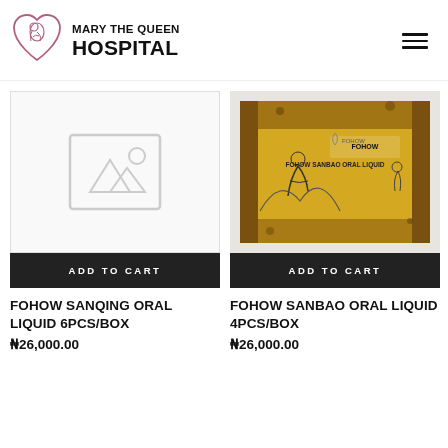[Figure (logo): Mary the Queen Hospital logo with stylized heart and mother/child illustration]
MARY THE QUEEN HOSPITAL
[Figure (photo): Placeholder image (no product image available) for FOHOW SANQING ORAL LIQUID 6PCS/BOX]
ADD TO CART
FOHOW SANQING ORAL LIQUID 6PCS/BOX
₦26,000.00
[Figure (photo): Photo of FOHOW SANBAO ORAL LIQUID product box - yellow/gold colored box with black text and illustrations]
ADD TO CART
FOHOW SANBAO ORAL LIQUID 4PCS/BOX
₦26,000.00